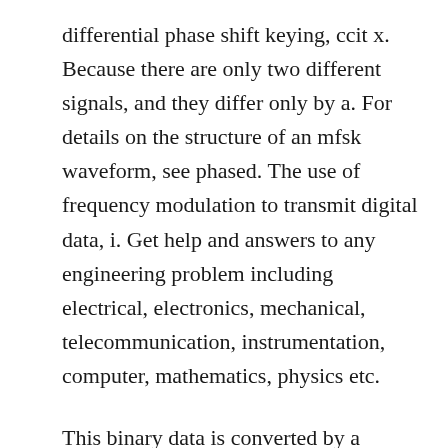differential phase shift keying, ccit x. Because there are only two different signals, and they differ only by a. For details on the structure of an mfsk waveform, see phased. The use of frequency modulation to transmit digital data, i. Get help and answers to any engineering problem including electrical, electronics, mechanical, telecommunication, instrumentation, computer, mathematics, physics etc.
This binary data is converted by a modem into an fsk. Theoretical diversity improvement in